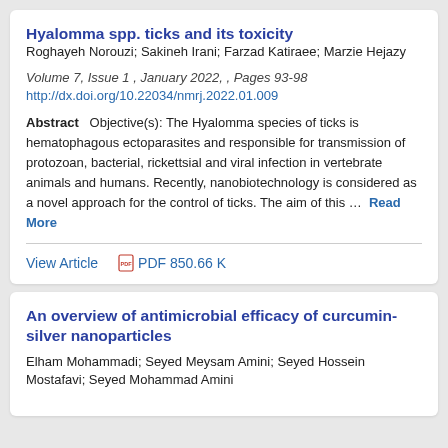Hyalomma spp. ticks and its toxicity
Roghayeh Norouzi; Sakineh Irani; Farzad Katiraee; Marzie Hejazy
Volume 7, Issue 1 , January 2022, , Pages 93-98
http://dx.doi.org/10.22034/nmrj.2022.01.009
Abstract   Objective(s): The Hyalomma species of ticks is hematophagous ectoparasites and responsible for transmission of protozoan, bacterial, rickettsial and viral infection in vertebrate animals and humans. Recently, nanobiotechnology is considered as a novel approach for the control of ticks. The aim of this ... Read More
View Article
PDF 850.66 K
An overview of antimicrobial efficacy of curcumin-silver nanoparticles
Elham Mohammadi; Seyed Meysam Amini; Seyed Hossein Mostafavi; Seyed Mohammad Amini